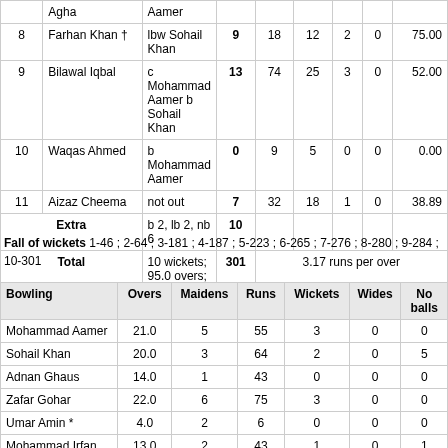| # | Batsman | Dismissal | R | B | M | 4s | 6s | SR |
| --- | --- | --- | --- | --- | --- | --- | --- | --- |
|  | Agha | Aamer |  |  |  |  |  |  |
| 8 | Farhan Khan † | lbw Sohail Khan | 9 | 18 | 12 | 2 | 0 | 75.00 |
| 9 | Bilawal Iqbal | c Mohammad Aamer b Sohail Khan | 13 | 74 | 25 | 3 | 0 | 52.00 |
| 10 | Waqas Ahmed | b Mohammad Aamer | 0 | 9 | 5 | 0 | 0 | 0.00 |
| 11 | Aizaz Cheema | not out | 7 | 32 | 18 | 1 | 0 | 38.89 |
| Extra |  | b 2, lb 2, nb 6 | 10 |  |  |  |  |  |
| Total |  | 10 wickets; 95.0 overs; 0 mins | 301 | 3.17 runs per over |  |  |  |  |
Fall of wickets 1-46 ;  2-64 ;  3-181 ;  4-187 ;  5-223 ;  6-265 ;  7-276 ;  8-280 ;  9-284 ;  10-301
| Bowling | Overs | Maidens | Runs | Wickets | Wides | No balls |
| --- | --- | --- | --- | --- | --- | --- |
| Mohammad Aamer | 21.0 | 5 | 55 | 3 | 0 | 0 |
| Sohail Khan | 20.0 | 3 | 64 | 2 | 0 | 5 |
| Adnan Ghaus | 14.0 | 1 | 43 | 0 | 0 | 0 |
| Zafar Gohar | 22.0 | 6 | 75 | 3 | 0 | 0 |
| Umar Amin * | 4.0 | 2 | 6 | 0 | 0 | 0 |
| Mohammad Irfan | 13.0 | 2 | 43 | 1 | 0 | 1 |